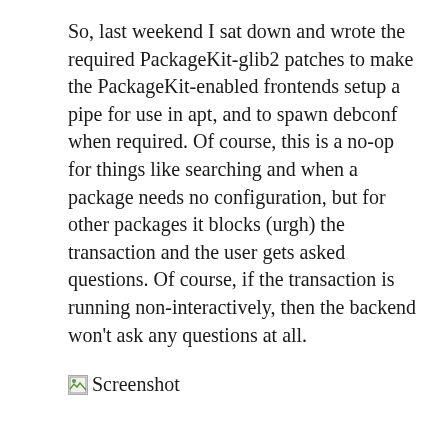So, last weekend I sat down and wrote the required PackageKit-glib2 patches to make the PackageKit-enabled frontends setup a pipe for use in apt, and to spawn debconf when required. Of course, this is a no-op for things like searching and when a package needs no configuration, but for other packages it blocks (urgh) the transaction and the user gets asked questions. Of course, if the transaction is running non-interactively, then the backend won't ask any questions at all.
[Figure (screenshot): Broken image placeholder labeled 'Screenshot']